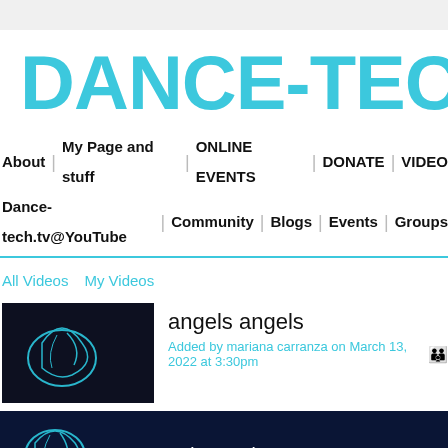DANCE-TECH
About | My Page and stuff | ONLINE EVENTS | DONATE | VIDEO
Dance-tech.tv@YouTube | Community | Blogs | Events | Groups
All Videos   My Videos
angels angels
Added by mariana carranza on March 13, 2022 at 3:30pm
[Figure (screenshot): Video preview showing angels angels title with Sign in to chat box]